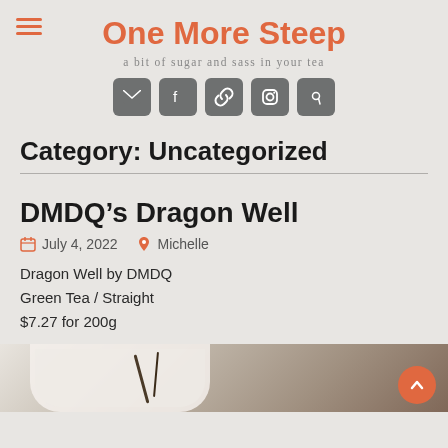One More Steep
a bit of sugar and sass in your tea
[Figure (infographic): Social media icon buttons: email, facebook, link, instagram, pinterest]
Category: Uncategorized
DMDQ’s Dragon Well
July 4, 2022   Michelle
Dragon Well by DMDQ
Green Tea / Straight
$7.27 for 200g
[Figure (photo): Partial photo of a tea cup and leaves from above, cropped at bottom of page]